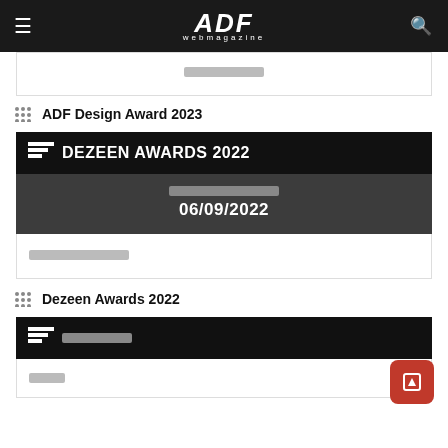ADF webmagazine
[Figure (screenshot): Partial content card with placeholder Japanese text]
ADF Design Award 2023
[Figure (screenshot): Black title bar with DEZEEN AWARDS 2022]
[Figure (screenshot): Dark card showing date 06/09/2022 with placeholder label above]
[Figure (screenshot): White card portion with placeholder Japanese text]
Dezeen Awards 2022
[Figure (screenshot): Black title bar with placeholder Japanese text and bottom partial card]